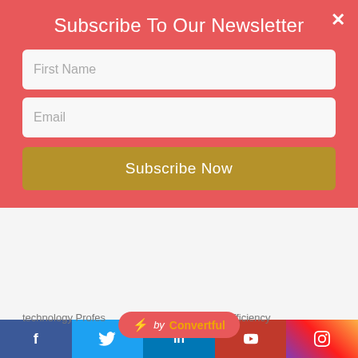Subscribe To Our Newsletter
First Name
Email
Subscribe Now
technology Profes...good efficiency
[Figure (logo): Convertful badge with lightning bolt icon and brand name]
RELATED PRODUCTS
[Figure (photo): KTAG product image with New badge and WhatsApp button]
[Figure (photo): Cable/wire product image with New badge]